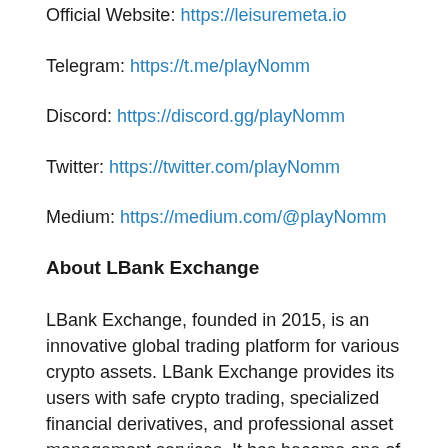Official Website: https://leisuremeta.io
Telegram: https://t.me/playNomm
Discord: https://discord.gg/playNomm
Twitter: https://twitter.com/playNomm
Medium: https://medium.com/@playNomm
About LBank Exchange
LBank Exchange, founded in 2015, is an innovative global trading platform for various crypto assets. LBank Exchange provides its users with safe crypto trading, specialized financial derivatives, and professional asset management services. It has become one of the most popular and trusted crypto trading platforms with over